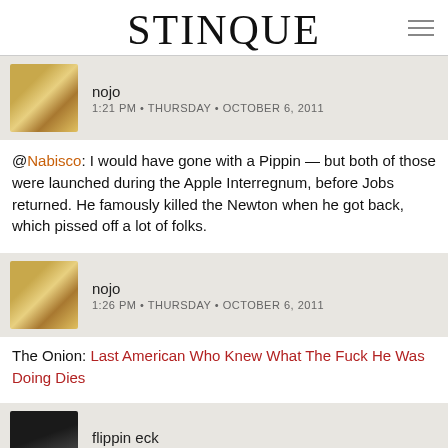STINQUE
nojo
1:21 PM • THURSDAY • OCTOBER 6, 2011
@Nabisco: I would have gone with a Pippin — but both of those were launched during the Apple Interregnum, before Jobs returned. He famously killed the Newton when he got back, which pissed off a lot of folks.
nojo
1:26 PM • THURSDAY • OCTOBER 6, 2011
The Onion: Last American Who Knew What The Fuck He Was Doing Dies
flippin eck
1:28 PM • THURSDAY • OCTOBER 6, 2011
@nojo: I haven't been immersed in the overt spoils of his work my whole digital life. Sure, Apple innovations have reformed the entire digital landscape and inspired Microsoft